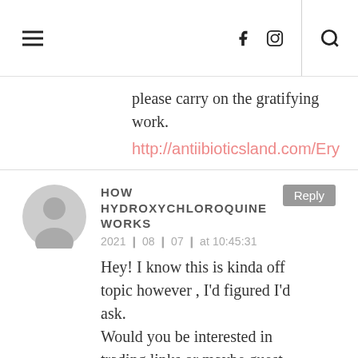Navigation header with hamburger menu, Facebook icon, Instagram icon, and search icon
please carry on the gratifying work.
http://antiibioticsland.com/Ery
HOW HYDROXYCHLOROQUINE WORKS
2021 ❙ 08 ❙ 07 ❙ at 10:45:31
Hey! I know this is kinda off topic however , I'd figured I'd ask. Would you be interested in trading links or maybe guest authoring a blog post or vice-versa? My